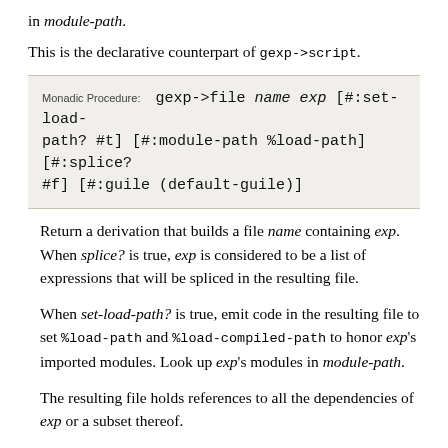in module-path.
This is the declarative counterpart of gexp->script.
Monadic Procedure: gexp->file name exp [#:set-load-path? #t] [#:module-path %load-path] [#:splice? #f] [#:guile (default-guile)]
Return a derivation that builds a file name containing exp. When splice? is true, exp is considered to be a list of expressions that will be spliced in the resulting file.
When set-load-path? is true, emit code in the resulting file to set %load-path and %load-compiled-path to honor exp's imported modules. Look up exp's modules in module-path.
The resulting file holds references to all the dependencies of exp or a subset thereof.